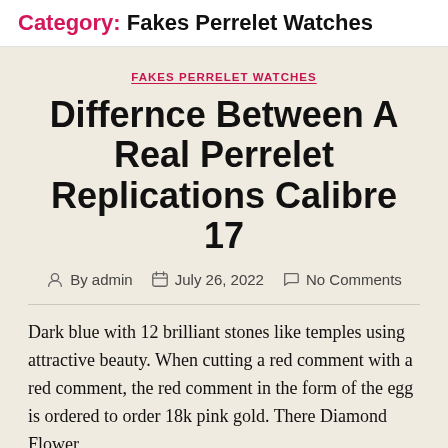Category: Fakes Perrelet Watches
FAKES PERRELET WATCHES
Differnce Between A Real Perrelet Replications Calibre 17
By admin   July 26, 2022   No Comments
Dark blue with 12 brilliant stones like temples using attractive beauty. When cutting a red comment with a red comment, the red comment in the form of the egg is ordered to order 18k pink gold. There Diamond Flower